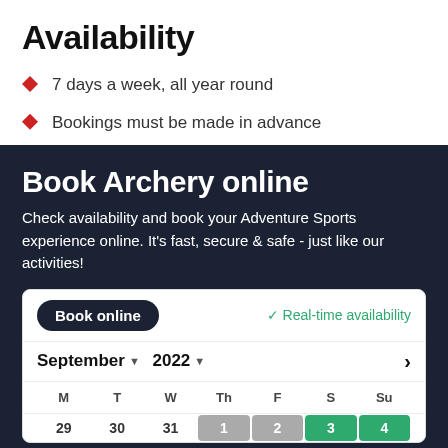Availability
7 days a week, all year round
Bookings must be made in advance
Book Archery online
Check availability and book your Adventure Sports experience online. It's fast, secure & safe - just like our activities!
[Figure (screenshot): Online booking widget showing 'Book online' button and 'Real-time availability' label, with a September 2022 calendar. Days row shows M T W Th F S Su. First week row shows 29, 30, 31 (empty), then 1, 2 (grey), 3, 4 (green).]